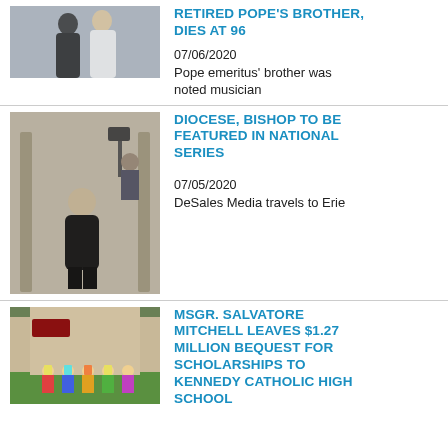[Figure (photo): Two men in clerical attire, one in white, standing together]
RETIRED POPE'S BROTHER, DIES at 96
07/06/2020
Pope emeritus' brother was noted musician
[Figure (photo): Bishop seated in dark clothing in a large church interior with camera crew visible]
DIOCESE, BISHOP TO BE FEATURED IN NATIONAL SERIES
07/05/2020
DeSales Media travels to Erie
[Figure (photo): Group of children in colorful costumes standing outside a building]
MSGR. SALVATORE MITCHELL LEAVES $1.27 MILLION BEQUEST FOR SCHOLARSHIPS TO KENNEDY CATHOLIC HIGH SCHOOL